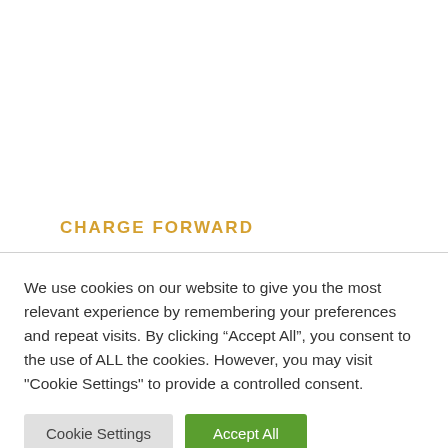CHARGE FORWARD
We use cookies on our website to give you the most relevant experience by remembering your preferences and repeat visits. By clicking “Accept All”, you consent to the use of ALL the cookies. However, you may visit "Cookie Settings" to provide a controlled consent.
Cookie Settings | Accept All